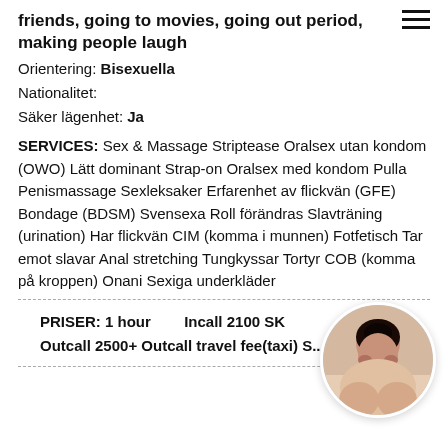friends, going to movies, going out period, making people laugh
Orientering: Bisexuella
Nationalitet:
Säker lägenhet: Ja
SERVICES: Sex & Massage Striptease Oralsex utan kondom (OWO) Lätt dominant Strap-on Oralsex med kondom Pulla Penismassage Sexleksaker Erfarenhet av flickvän (GFE) Bondage (BDSM) Svensexa Roll förändras Slavträning (urination) Har flickvän CIM (komma i munnen) Fotfetisch Tar emot slavar Anal stretching Tungkyssar Tortyr COB (komma på kroppen) Onani Sexiga underkläder
PRISER: 1 hour    Incall 2100 SK
Outcall 2500+ Outcall travel fee(taxi) S...
[Figure (photo): Circular cropped photo of a woman with dark hair]